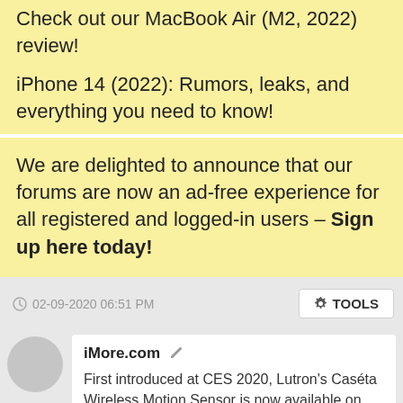Check out our MacBook Air (M2, 2022) review!

iPhone 14 (2022): Rumors, leaks, and everything you need to know!
We are delighted to announce that our forums are now an ad-free experience for all registered and logged-in users – Sign up here today!
02-09-2020 06:51 PM
TOOLS
iMore.com
First introduced at CES 2020, Lutron's Caséta Wireless Motion Sensor is now available on Amazon.